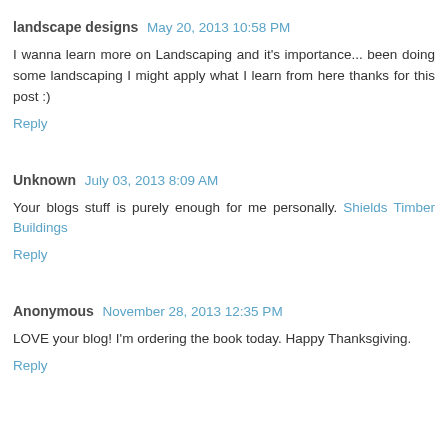landscape designs May 20, 2013 10:58 PM
I wanna learn more on Landscaping and it's importance... been doing some landscaping I might apply what I learn from here thanks for this post :)
Reply
Unknown July 03, 2013 8:09 AM
Your blogs stuff is purely enough for me personally. Shields Timber Buildings
Reply
Anonymous November 28, 2013 12:35 PM
LOVE your blog! I'm ordering the book today. Happy Thanksgiving.
Reply